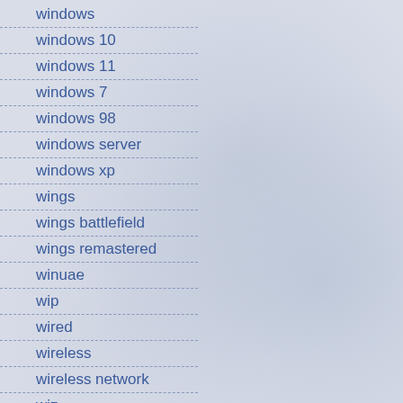windows
windows 10
windows 11
windows 7
windows 98
windows server
windows xp
wings
wings battlefield
wings remastered
winuae
wip
wired
wireless
wireless network
wiz
wmv
wolfenstein
wood grain